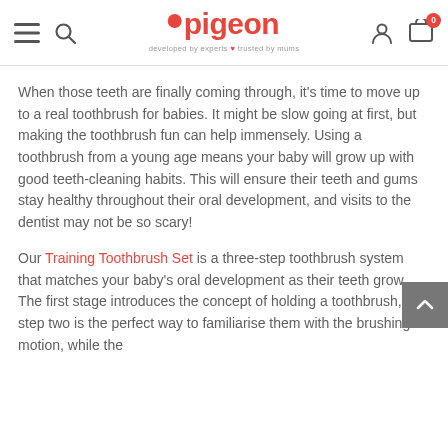pigeon — developed by experts ❤ trusted by mums
When those teeth are finally coming through, it's time to move up to a real toothbrush for babies. It might be slow going at first, but making the toothbrush fun can help immensely. Using a toothbrush from a young age means your baby will grow up with good teeth-cleaning habits. This will ensure their teeth and gums stay healthy throughout their oral development, and visits to the dentist may not be so scary!
Our Training Toothbrush Set is a three-step toothbrush system that matches your baby's oral development as their teeth grow. The first stage introduces the concept of holding a toothbrush, step two is the perfect way to familiarise them with the brushing motion, while the